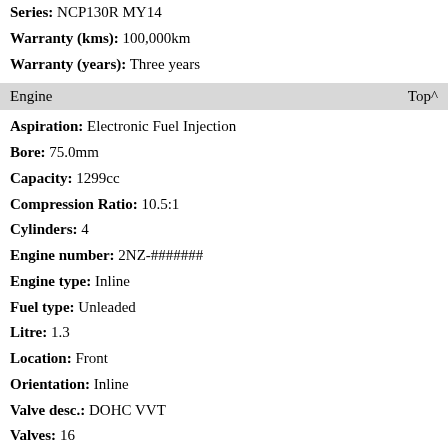Seats: 5
Series: NCP130R MY14
Warranty (kms): 100,000km
Warranty (years): Three years
Engine    Top^
Aspiration: Electronic Fuel Injection
Bore: 75.0mm
Capacity: 1299cc
Compression Ratio: 10.5:1
Cylinders: 4
Engine number: 2NZ-#######
Engine type: Inline
Fuel type: Unleaded
Litre: 1.3
Location: Front
Orientation: Inline
Valve desc.: DOHC VVT
Valves: 16
Transmission    Top^
Drive type: Front wheel drive